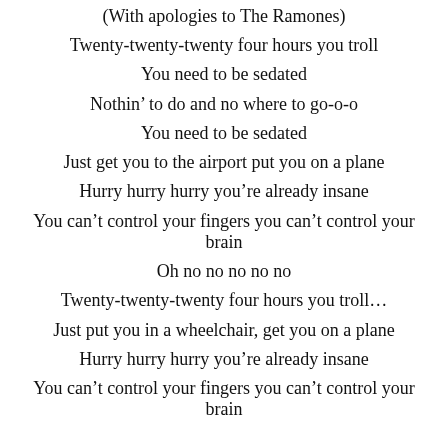(With apologies to The Ramones)
Twenty-twenty-twenty four hours you troll
You need to be sedated
Nothin’ to do and no where to go-o-o
You need to be sedated
Just get you to the airport put you on a plane
Hurry hurry hurry you’re already insane
You can’t control your fingers you can’t control your brain
Oh no no no no no
Twenty-twenty-twenty four hours you troll…
Just put you in a wheelchair, get you on a plane
Hurry hurry hurry you’re already insane
You can’t control your fingers you can’t control your brain